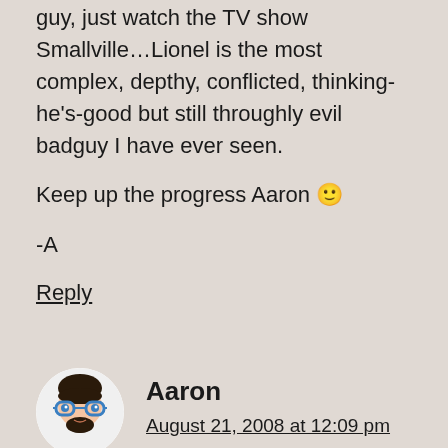guy, just watch the TV show Smallville…Lionel is the most complex, depthy, conflicted, thinking-he's-good but still throughly evil badguy I have ever seen.

Keep up the progress Aaron 🙂

-A
Reply
Aaron
August 21, 2008 at 12:09 pm